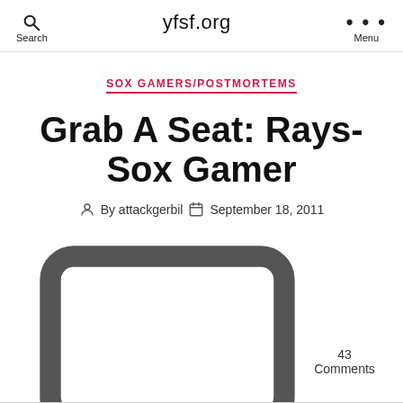Search  yfsf.org  Menu
SOX GAMERS/POSTMORTEMS
Grab A Seat: Rays-Sox Gamer
By attackgerbil   September 18, 2011   43 Comments
The Phillies and Dee-Troit are in.  Who else wants a ride?  David Price and Tim Wakefield pitch in Fenway today.  Lineups follow, comments.. GO!